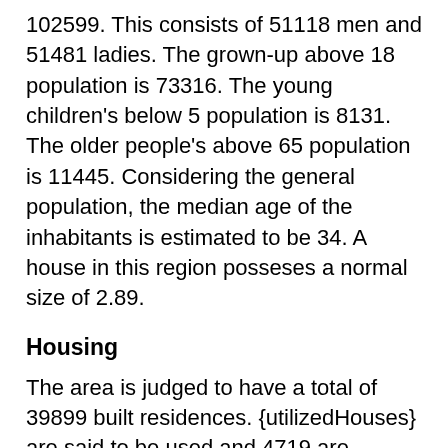102599. This consists of 51118 men and 51481 ladies. The grown-up above 18 population is 73316. The young children's below 5 population is 8131. The older people's above 65 population is 11445. Considering the general population, the median age of the inhabitants is estimated to be 34. A house in this region posseses a normal size of 2.89.
Housing
The area is judged to have a total of 39899 built residences. {utilizedHouses} are said to be used and 4719 are understood to be vacant. The total places of residence that are used by the landlords independently has been assessed to be 23093. On the other hand, 12087 places of residence happen to be given on lease.